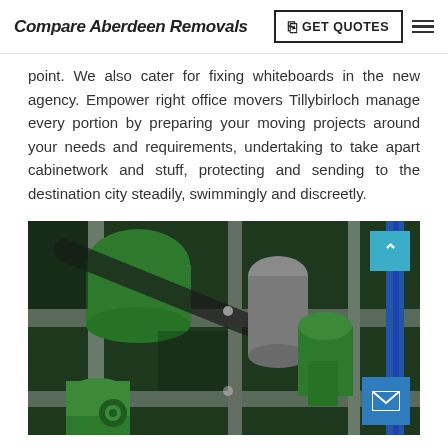Compare Aberdeen Removals — GET QUOTES
point. We also cater for fixing whiteboards in the new agency. Empower right office movers Tillybirloch manage every portion by preparing your moving projects around your needs and requirements, undertaking to take apart cabinetwork and stuff, protecting and sending to the destination city steadily, swimmingly and discreetly.
[Figure (photo): Close-up photo of industrial green machinery with pipes, cylinders and metal framework]